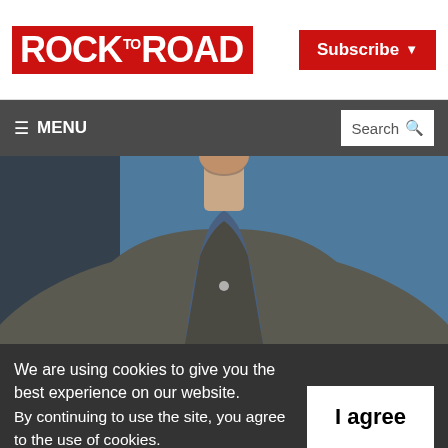ROCK TO ROAD
Subscribe
MENU | Search
[Figure (photo): Man in grey blazer and blue shirt against blue background, cropped at neck and torso]
We are using cookies to give you the best experience on our website.
By continuing to use the site, you agree to the use of cookies.
To find out more, read our privacy policy.
I agree